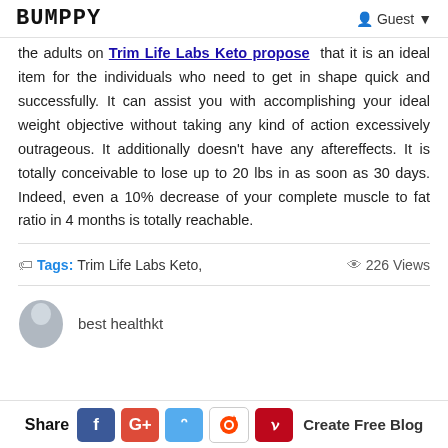BUMPPY | Guest
the adults on Trim Life Labs Keto propose that it is an ideal item for the individuals who need to get in shape quick and successfully. It can assist you with accomplishing your ideal weight objective without taking any kind of action excessively outrageous. It additionally doesn't have any aftereffects. It is totally conceivable to lose up to 20 lbs in as soon as 30 days. Indeed, even a 10% decrease of your complete muscle to fat ratio in 4 months is totally reachable.
Tags: Trim Life Labs Keto, | 226 Views
best healthkt
Share | Facebook | Google+ | Twitter | Reddit | Pinterest | Create Free Blog